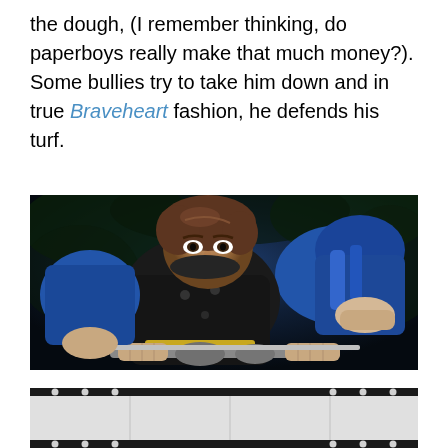the dough, (I remember thinking, do paperboys really make that much money?). Some bullies try to take him down and in true Braveheart fashion, he defends his turf.
[Figure (photo): A young boy leaning forward aggressively on a bicycle, wearing a blue jacket and dark armor/padding, with dark background foliage. Movie still from a film involving a paperboy character.]
[Figure (photo): Bottom portion of a film strip graphic with circular sprocket holes visible on the left and right sides, light gray background.]